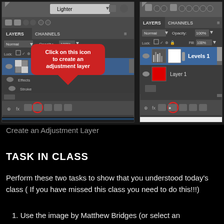[Figure (screenshot): Two Photoshop Layers panel screenshots side by side. Left panel shows Layer 2 with a red speech bubble callout saying 'Click on this icon to create an adjustment layer' with a red circle highlighting the adjustment layer button at the bottom. Right panel shows Levels 1 adjustment layer and Layer 1 with a red circle highlighting the adjustment layer icon.]
Create an Adjustment Layer
TASK IN CLASS
Perform these two tasks to show that you understood today's class ( If you have missed this class you need to do this!!!)
1. Use the image by Matthew Bridges (or select an